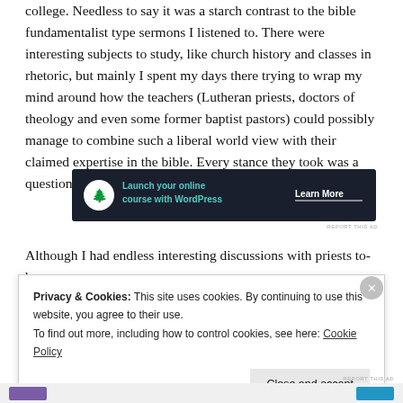college. Needless to say it was a starch contrast to the bible fundamentalist type sermons I listened to. There were interesting subjects to study, like church history and classes in rhetoric, but mainly I spent my days there trying to wrap my mind around how the teachers (Lutheran priests, doctors of theology and even some former baptist pastors) could possibly manage to combine such a liberal world view with their claimed expertise in the bible. Every stance they took was a questioning of the infallibility and literal meaning of the bible.
[Figure (infographic): Dark advertisement banner: Launch your online course with WordPress. Learn More button.]
REPORT THIS AD
Although I had endless interesting discussions with priests to-be
Privacy & Cookies: This site uses cookies. By continuing to use this website, you agree to their use.
To find out more, including how to control cookies, see here: Cookie Policy
Close and accept